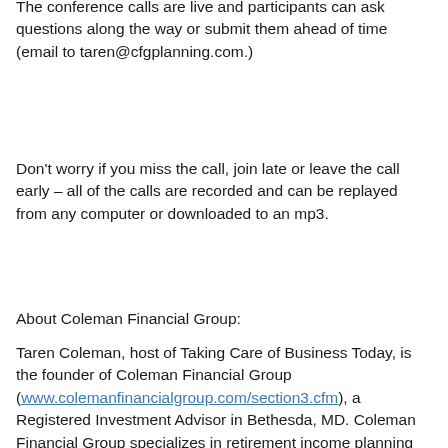The conference calls are live and participants can ask questions along the way or submit them ahead of time (email to taren@cfgplanning.com.)
Don't worry if you miss the call, join late or leave the call early – all of the calls are recorded and can be replayed from any computer or downloaded to an mp3.
About Coleman Financial Group:
Taren Coleman, host of Taking Care of Business Today, is the founder of Coleman Financial Group (www.colemanfinancialgroup.com/section3.cfm), a Registered Investment Advisor in Bethesda, MD. Coleman Financial Group specializes in retirement income planning for business owners and pre-retirees – managing investments and other financial